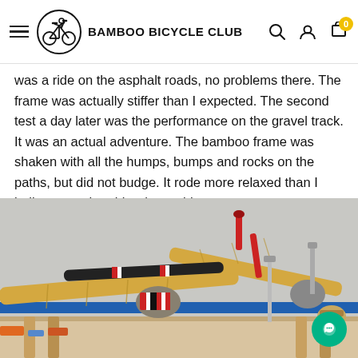BAMBOO BICYCLE CLUB
was a ride on the asphalt roads, no problems there. The frame was actually stiffer than I expected. The second test a day later was the performance on the gravel track. It was an actual adventure. The bamboo frame was shaken with all the humps, bumps and rocks on the paths, but did not budge. It rode more relaxed than I believe a carbon bicycle would.
[Figure (photo): A bamboo bicycle frame in progress, lying on a workbench, showing wrapped joints with colorful tape and bamboo tubes, metal lugs, and assembly jig.]